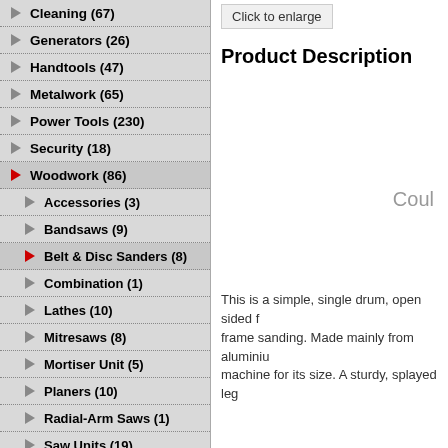Cleaning (67)
Generators (26)
Handtools (47)
Metalwork (65)
Power Tools (230)
Security (18)
Woodwork (86)
Accessories (3)
Bandsaws (9)
Belt & Disc Sanders (8)
Combination (1)
Lathes (10)
Mitresaws (8)
Mortiser Unit (5)
Planers (10)
Radial-Arm Saws (1)
Saw Units (19)
Scroll Saws (4)
Spindle Moulders (5)
Click to enlarge
Product Description
Coul
This is a simple, single drum, open sided frame sanding. Made mainly from aluminium machine for its size. A sturdy, splayed leg